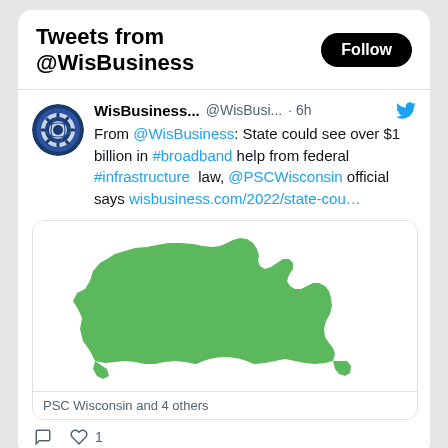Tweets from @WisBusiness
WisBusiness... @WisBusi... · 6h — From @WisBusiness: State could see over $1 billion in #broadband help from federal #infrastructure law, @PSCWisconsin official says wisbusiness.com/2022/state-cou...
[Figure (photo): Green silhouette map of Wisconsin on white background, partial view of a white circular design at bottom]
PSC Wisconsin and 4 others
Reply and Like counts: 1 like